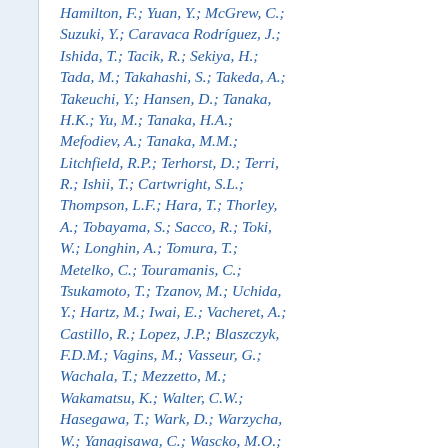Hamilton, F.; Yuan, Y.; McGrew, C.; Suzuki, Y.; Caravaca Rodríguez, J.; Ishida, T.; Tacik, R.; Sekiya, H.; Tada, M.; Takahashi, S.; Takeda, A.; Takeuchi, Y.; Hansen, D.; Tanaka, H.K.; Yu, M.; Tanaka, H.A.; Mefodiev, A.; Tanaka, M.M.; Litchfield, R.P.; Terhorst, D.; Terri, R.; Ishii, T.; Cartwright, S.L.; Thompson, L.F.; Hara, T.; Thorley, A.; Tobayama, S.; Sacco, R.; Toki, W.; Longhin, A.; Tomura, T.; Metelko, C.; Touramanis, C.; Tsukamoto, T.; Tzanov, M.; Uchida, Y.; Hartz, M.; Iwai, E.; Vacheret, A.; Castillo, R.; Lopez, J.P.; Blaszczyk, F.D.M.; Vagins, M.; Vasseur, G.; Wachala, T.; Mezzetto, M.; Wakamatsu, K.; Walter, C.W.; Hasegawa, T.; Wark, D.; Warzycha, W.; Yanagisawa, C.; Wascko, M.O.; Iwamoto, K.; Zalewska, A.; Weber, A.; Wendell, R.; Catanesi, M.G.;